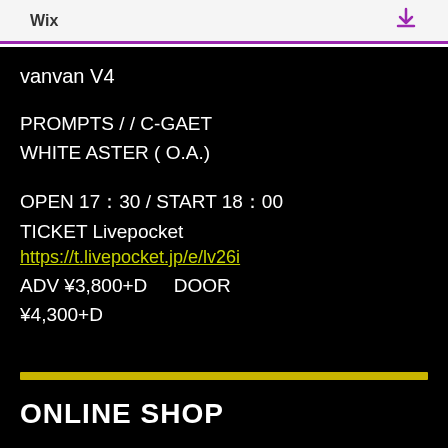Wix
vanvan V4
PROMPTS /  / C-GAET
WHITE ASTER ( O.A.)
OPEN  17：30  /  START 18：00
TICKET  Livepocket
https://t.livepocket.jp/e/lv26i
ADV  ¥3,800+D      DOOR
¥4,300+D
ONLINE SHOP